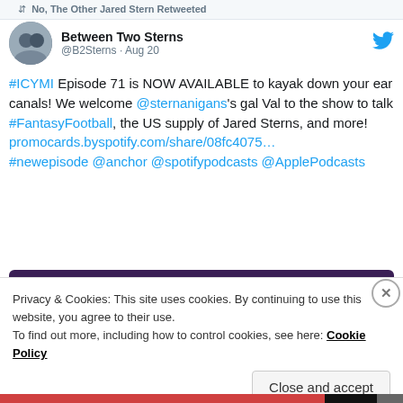No, The Other Jared Stern Retweeted
Between Two Sterns @B2Sterns · Aug 20
#ICYMI Episode 71 is NOW AVAILABLE to kayak down your ear canals! We welcome @sternanigans's gal Val to the show to talk #FantasyFootball, the US supply of Jared Sterns, and more! promocards.byspotify.com/share/08fc4075… #newepisode @anchor @spotifypodcasts @ApplePodcasts
[Figure (screenshot): Spotify podcast promo card preview showing 'Between Two Sterns' with purple background and green 'NEW EPISODE' badge]
Privacy & Cookies: This site uses cookies. By continuing to use this website, you agree to their use.
To find out more, including how to control cookies, see here: Cookie Policy
Close and accept